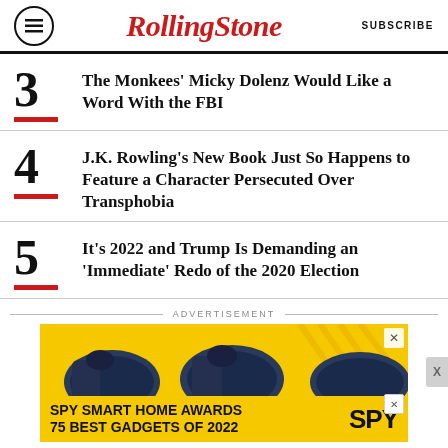RollingStone | SUBSCRIBE
3 The Monkees' Micky Dolenz Would Like a Word With the FBI
4 J.K. Rowling's New Book Just So Happens to Feature a Character Persecuted Over Transphobia
5 It's 2022 and Trump Is Demanding an 'Immediate' Redo of the 2020 Election
ADVERTISEMENT
[Figure (photo): Advertisement banner for SPY Smart Home Awards — 75 Best Gadgets of 2022, featuring massage gun devices on yellow background]